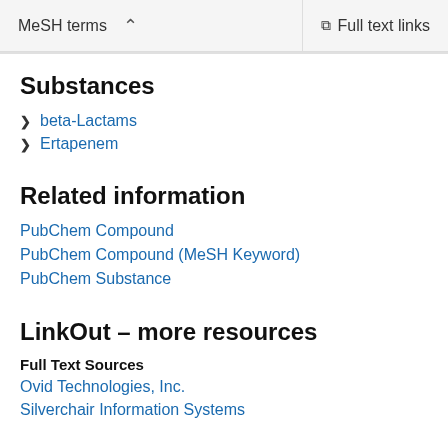MeSH terms   Full text links
Substances
beta-Lactams
Ertapenem
Related information
PubChem Compound
PubChem Compound (MeSH Keyword)
PubChem Substance
LinkOut – more resources
Full Text Sources
Ovid Technologies, Inc.
Silverchair Information Systems